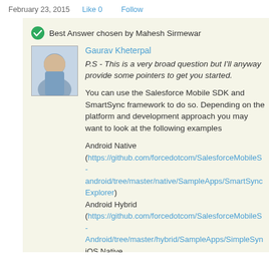February 23, 2015   Like 0   Follow
Best Answer chosen by Mahesh Sirmewar
Gaurav Kheterpal
P.S - This is a very broad question but I'll anyway provide some pointers to get you started.
You can use the Salesforce Mobile SDK and SmartSync framework to do so. Depending on the platform and development approach you may want to look at the following examples
Android Native (https://github.com/forcedotcom/SalesforceMobileS - android/tree/master/native/SampleApps/SmartSyncExplorer)
Android Hybrid (https://github.com/forcedotcom/SalesforceMobileS-Android/tree/master/hybrid/SampleApps/SimpleSyn
iOS Native (https://github.com/forcedotcom/SalesforceMobileS